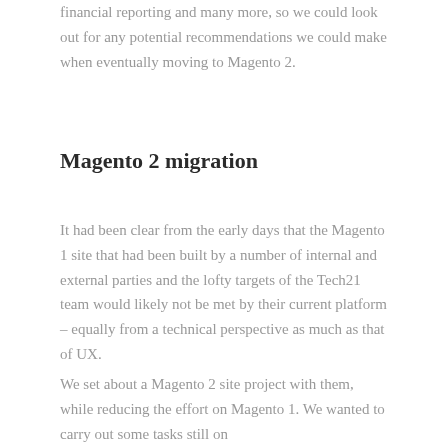financial reporting and many more, so we could look out for any potential recommendations we could make when eventually moving to Magento 2.
Magento 2 migration
It had been clear from the early days that the Magento 1 site that had been built by a number of internal and external parties and the lofty targets of the Tech21 team would likely not be met by their current platform – equally from a technical perspective as much as that of UX.
We set about a Magento 2 site project with them, while reducing the effort on Magento 1. We wanted to carry out some tasks still on